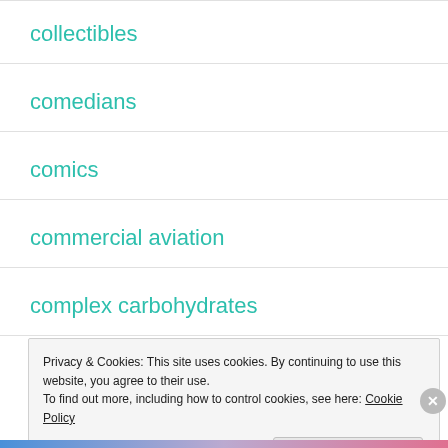collectibles
comedians
comics
commercial aviation
complex carbohydrates
Privacy & Cookies: This site uses cookies. By continuing to use this website, you agree to their use.
To find out more, including how to control cookies, see here: Cookie Policy
Close and accept